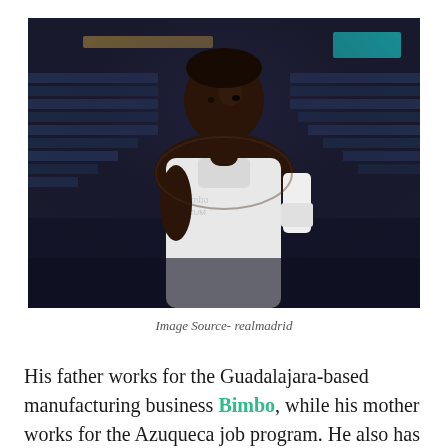[Figure (photo): A basketball player in a white jersey and arm band, viewed from behind/side, looking over his shoulder toward the camera. The setting appears to be an indoor arena with stadium seats visible in the background. Dark, dramatic lighting.]
Image Source- realmadrid
His father works for the Guadalajara-based manufacturing business Bimbo, while his mother works for the Azuqueca job program. He also has two younger brothers, Sediq and Uki. Furthermore,